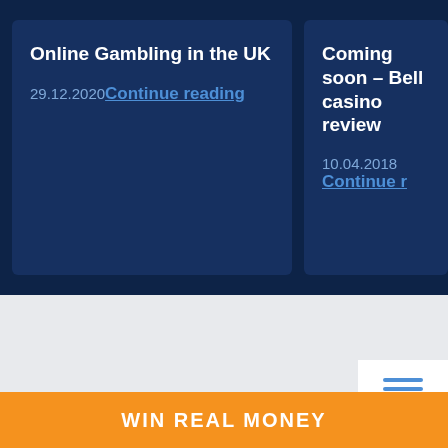Online Gambling in the UK
29.12.2020 Continue reading
Coming soon – Bell casino review
10.04.2018 Continue r
[Figure (screenshot): Menu button with three horizontal blue lines and MENU text label]
WIN REAL MONEY